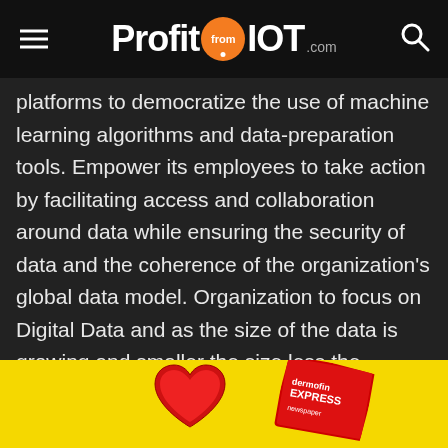ProfitfromIOT.com
platforms to democratize the use of machine learning algorithms and data-preparation tools. Empower its employees to take action by facilitating access and collaboration around data while ensuring the security of data and the coherence of the organization's global data model. Organization to focus on Digital Data and as the size of the data is growing and smaller the size less the prediction and less accuracy. In next wave of Digital Data is to build BIG DATA and explore the hidden information in the organization by employing right data scientists. The direction that is rac... well as
[Figure (other): Yellow advertisement banner with a red heart graphic on the left and a newspaper/magazine labeled EXPRESS on the right]